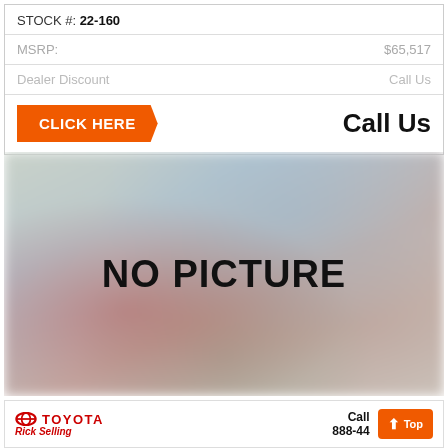STOCK #: 22-160
MSRP: $65,517
Dealer Discount Call Us
CLICK HERE
Call Us
[Figure (photo): Blurred placeholder image with text NO PICTURE overlaid]
TOYOTA Call 888-44...
Top